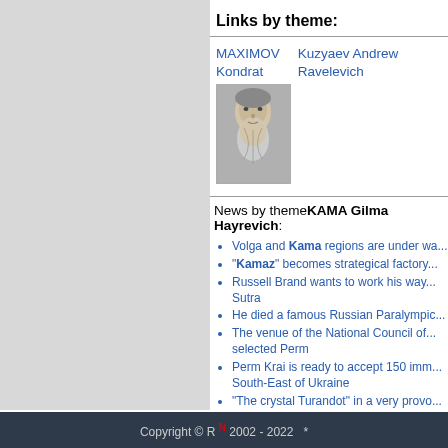Links by theme:
MAXIMOV Kondrat
Kuzyaev Andrew Ravelevich
[Figure (photo): Portrait photograph of an elderly man with a long white beard, grayscale/sketched style]
News by themeKAMA Gilma Hayrevich:
Volga and Kama regions are under wa...
"Kamaz" becomes strategical factory...
Russell Brand wants to work his way... Sutra
He died a famous Russian Paralympic...
The venue of the National Council of... selected Perm
Perm Krai is ready to accept 150 imm... South-East of Ukraine
"The crystal Turandot" in a very provo...
Works director killed in Naberezhnye...
In the Kama court announced the dec... machinations with land plots
Perm mufti looks for wife in Volga Fe...
Copyright © R N 2002 - 2022  *